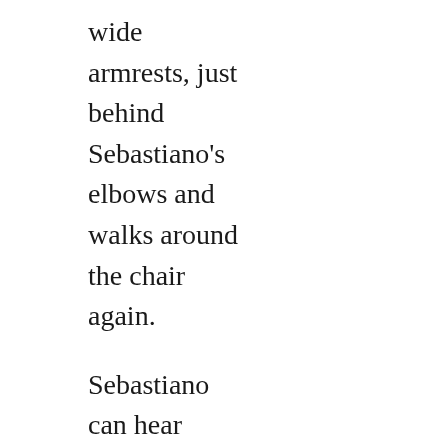wide armrests, just behind Sebastiano's elbows and walks around the chair again.

Sebastiano can hear Baratin directly behind him. He goes rigid